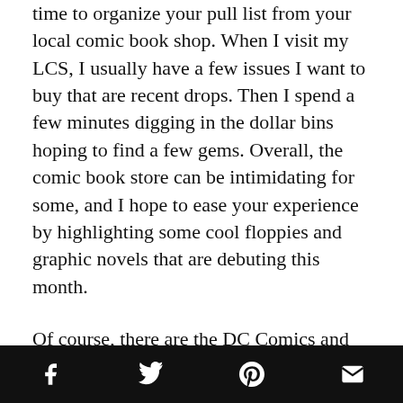Happy April. As spring creeps around the corner, it's time to organize your pull list from your local comic book shop. When I visit my LCS, I usually have a few issues I want to buy that are recent drops. Then I spend a few minutes digging in the dollar bins hoping to find a few gems. Overall, the comic book store can be intimidating for some, and I hope to ease your experience by highlighting some cool floppies and graphic novels that are debuting this month.
Of course, there are the DC Comics and Marvel titles that we can't resist, but I've included some indies as well. I'm not really loyal to one particular brand or
[social share icons: Facebook, Twitter, Pinterest, Email]